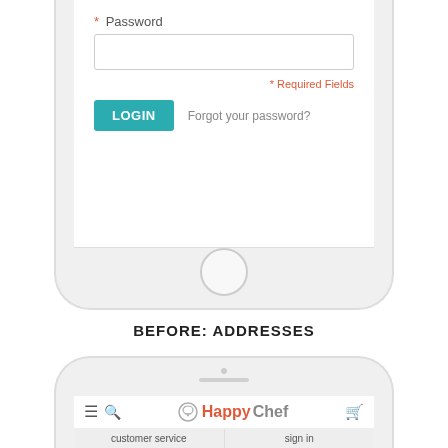[Figure (screenshot): Bottom portion of a mobile phone (iPhone-style) showing a login form with a Password field, asterisk Required Fields note, a teal LOGIN button, and 'Forgot your password?' link.]
BEFORE: ADDRESSES
[Figure (screenshot): Top portion of a mobile phone showing a HappyChef app navigation bar with hamburger menu, search icon, HappyChef logo with chef hat, and cart icon. Below is a gray bar with 'customer service' and 'sign in' links.]